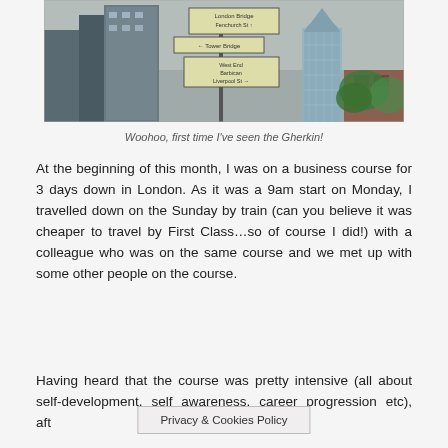[Figure (photo): Street-level photo of the City of London skyline including the Gherkin building and other skyscrapers, with a street sign post showing directions to London Bridge, Fenchurch St, Tower Bridge, West End, Barbican, Liverpool St.]
Woohoo, first time I've seen the Gherkin!
At the beginning of this month, I was on a business course for 3 days down in London. As it was a 9am start on Monday, I travelled down on the Sunday by train (can you believe it was cheaper to travel by First Class…so of course I did!) with a colleague who was on the same course and we met up with some other people on the course.
Having heard that the course was pretty intensive (all about self-development, self awareness, career progression etc), aft
Privacy & Cookies Policy